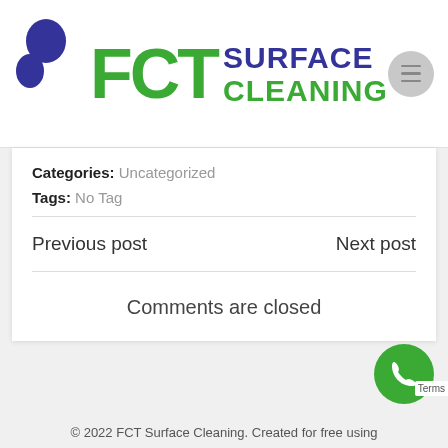[Figure (logo): FCT Surface Cleaning logo with blue droplet icon, green FCT letters, and blue/green SURFACE CLEANING text]
Categories: Uncategorized
Tags: No Tag
Previous post
Next post
Comments are closed
[Figure (illustration): Green circular phone/call button]
© 2022 FCT Surface Cleaning. Created for free using